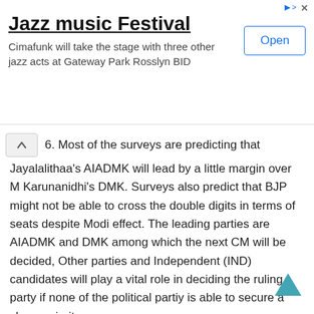[Figure (screenshot): Advertisement banner for Jazz music Festival. Title: 'Jazz music Festival'. Description: 'Cimafunk will take the stage with three other jazz acts at Gateway Park Rosslyn BID'. Button: 'Open'. Ad indicator icons top right.]
6. Most of the surveys are predicting that Jayalalithaa's AIADMK will lead by a little margin over M Karunanidhi's DMK. Surveys also predict that BJP might not be able to cross the double digits in terms of seats despite Modi effect. The leading parties are AIADMK and DMK among which the next CM will be decided, Other parties and Independent (IND) candidates will play a vital role in deciding the ruling party if none of the political partiy is able to secure a clear majority.
Also Read:
Tamil Nadu Candidate List for Assembly Elections 2016
BJP Candidate List for Tamil Nadu Assembly Elections